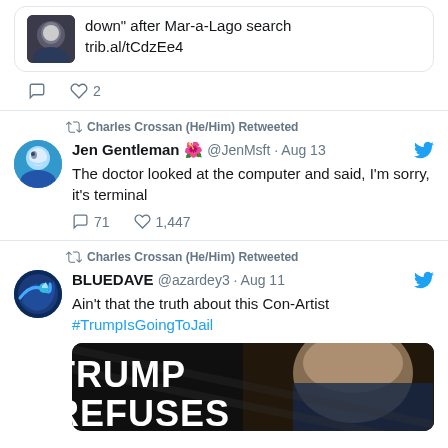[Figure (screenshot): Partial tweet with avatar of person in suit, text: 'down" after Mar-a-Lago search trib.al/tCdzEe4', with reply and 2 likes icons]
[Figure (screenshot): Retweet by Charles Crossan (He/Him). Tweet by Jen Gentleman @JenMsft Aug 13: 'The doctor looked at the computer and said, I'm sorry, it's terminal'. 71 replies, 1,447 likes.]
[Figure (screenshot): Retweet by Charles Crossan (He/Him). Tweet by BLUEDAVE @azardey3 Aug 11: 'Ain't that the truth about this Con-Artist #TrumpIsGoingToJail'. Image showing 'TRUMP REFUSES' text over photo of Trump.]